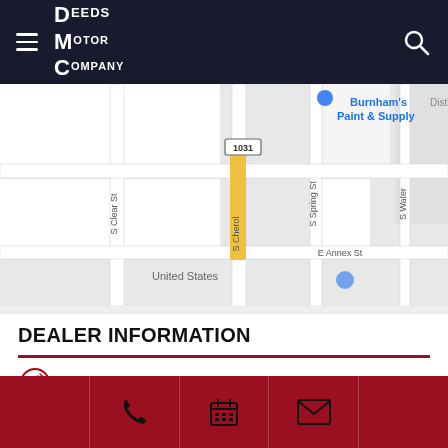Deeds Motor Company
[Figure (map): Street map showing Burnham's Paint & Supply location near S Clear St, S Cherokee, S Spring St, E Annex St, with route 1031 marker]
DEALER INFORMATION
Phone Number
(325) 372-3945  CLICK TO CALL